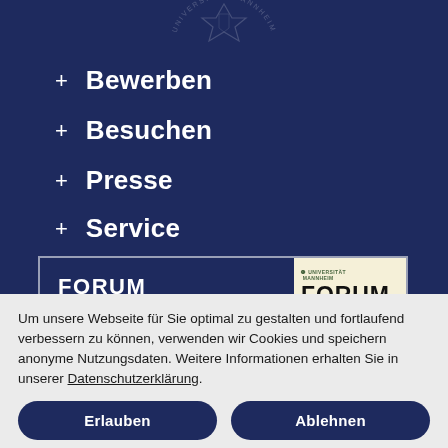[Figure (logo): University of Mannheim seal/crest watermark at top center, partially visible, light color on navy background]
+ Bewerben
+ Besuchen
+ Presse
+ Service
[Figure (other): FORUM box with navy border showing FORUM title text on the left and a magazine cover on the right with FORUM in large bold text on cream background]
Um unsere Webseite für Sie optimal zu gestalten und fortlaufend verbessern zu können, verwenden wir Cookies und speichern anonyme Nutzungsdaten. Weitere Informationen erhalten Sie in unserer Datenschutzerklärung.
Erlauben
Ablehnen